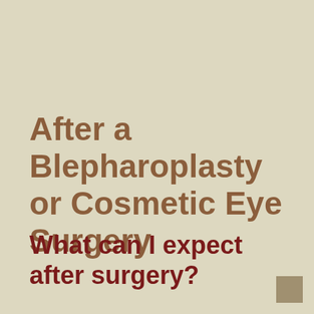After a Blepharoplasty or Cosmetic Eye Surgery
What can I expect after surgery?